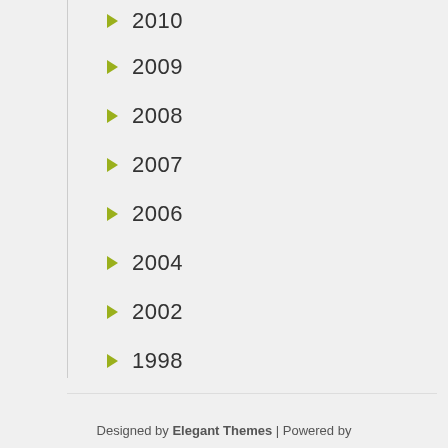2010
2009
2008
2007
2006
2004
2002
1998
Designed by Elegant Themes | Powered by